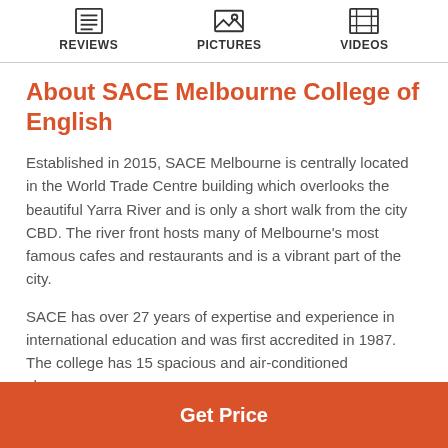REVIEWS  PICTURES  VIDEOS
About SACE Melbourne College of English
Established in 2015, SACE Melbourne is centrally located in the World Trade Centre building which overlooks the beautiful Yarra River and is only a short walk from the city CBD. The river front hosts many of Melbourne’s most famous cafes and restaurants and is a vibrant part of the city.
SACE has over 27 years of expertise and experience in international education and was first accredited in 1987. The college has 15 spacious and air-conditioned classrooms
Get Price